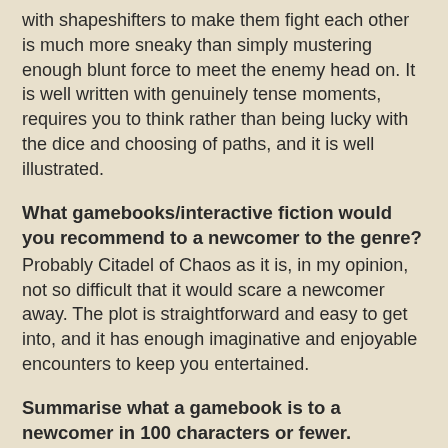with shapeshifters to make them fight each other is much more sneaky than simply mustering enough blunt force to meet the enemy head on. It is well written with genuinely tense moments, requires you to think rather than being lucky with the dice and choosing of paths, and it is well illustrated.
What gamebooks/interactive fiction would you recommend to a newcomer to the genre?
Probably Citadel of Chaos as it is, in my opinion, not so difficult that it would scare a newcomer away. The plot is straightforward and easy to get into, and it has enough imaginative and enjoyable encounters to keep you entertained.
Summarise what a gamebook is to a newcomer in 100 characters or fewer.
It's a book where the plot is split up in a number of paragraphs, and you decide the course of action by flipping through them.
Why are gamebooks great compared to games or books?